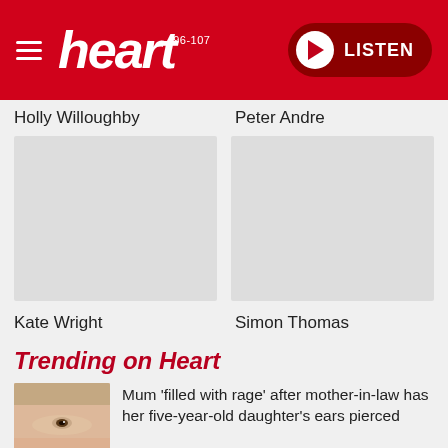[Figure (logo): Heart FM radio website header with hamburger menu, Heart 96-107 logo in white italic on red background, and a LISTEN button with play icon on dark red pill]
Holly Willoughby
Peter Andre
[Figure (photo): Placeholder image for Holly Willoughby (grey rectangle)]
[Figure (photo): Placeholder image for Peter Andre (grey rectangle)]
Kate Wright
Simon Thomas
Trending on Heart
[Figure (photo): Close-up photo of a woman's face (ear/eye region, skin tones)]
Mum 'filled with rage' after mother-in-law has her five-year-old daughter's ears pierced